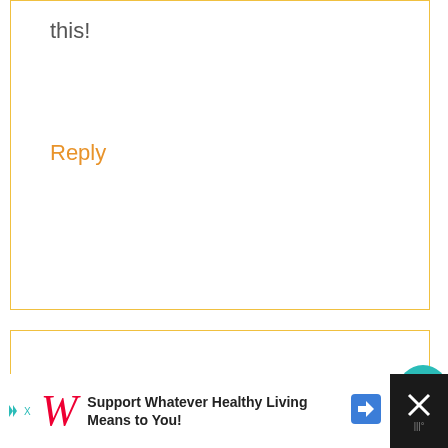this!
Reply
Liz j says
December 5, 2017 at 9:09 pm
I would give this to my skye loving girl, Charlotte!
[Figure (infographic): What's next promotional box showing Halloween Snack Mix with thumbnail image]
[Figure (infographic): Advertisement bar: Support Whatever Healthy Living Means to You! - Walgreens]